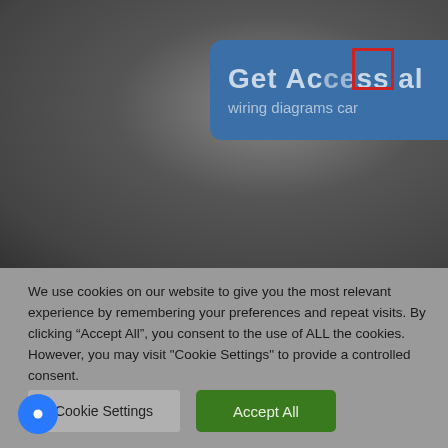[Figure (screenshot): Screenshot of a website with a blurred dark background, a blue banner partially visible showing 'Get Access al' and 'wiring diagrams car', with a red rectangle highlighting the letters 'ce' in 'Access', and a cookie consent dialog overlay at the bottom.]
We use cookies on our website to give you the most relevant experience by remembering your preferences and repeat visits. By clicking “Accept All”, you consent to the use of ALL the cookies. However, you may visit "Cookie Settings" to provide a controlled consent.